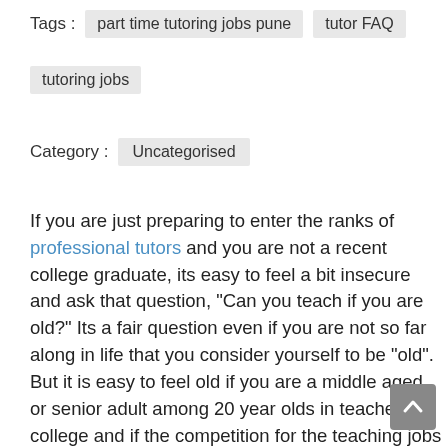Tags :  part time tutoring jobs pune    tutor FAQ    tutoring jobs
Category :  Uncategorised
If you are just preparing to enter the ranks of professional tutors and you are not a recent college graduate, its easy to feel a bit insecure and ask that question, “Can you teach if you are old?” Its a fair question even if you are not so far along in life that you consider yourself to be “old”. But it is easy to feel old if you are a middle aged or senior adult among 20 year olds in teacher college and if the competition for the teaching jobs are kids that could be your own sons or daughters.